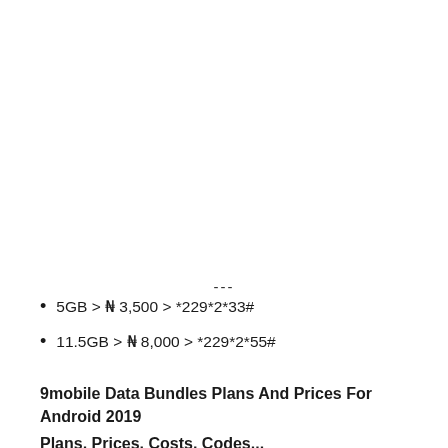---
5GB > ₦ 3,500 > *229*2*33#
11.5GB > ₦ 8,000 > *229*2*55#
9mobile Data Bundles Plans And Prices For Android 2019
Plans, Prices, Costs, Codes...